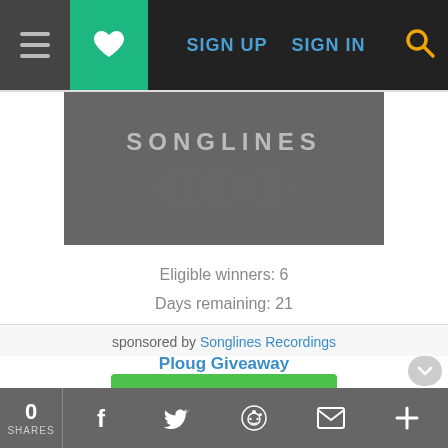SIGN UP  SIGN IN
[Figure (screenshot): Songlines album art – dark grey background with SONGLINES text and dot pattern]
Eligible winners: 6
Days remaining: 21
Songlines Recordings Matt Choboter / Mikkel Ploug Giveaway
SIGN IN TO ENTER
sponsored by Songlines Recordings
0 SHARES  [Facebook] [Twitter] [Reddit] [Mail] [Plus]